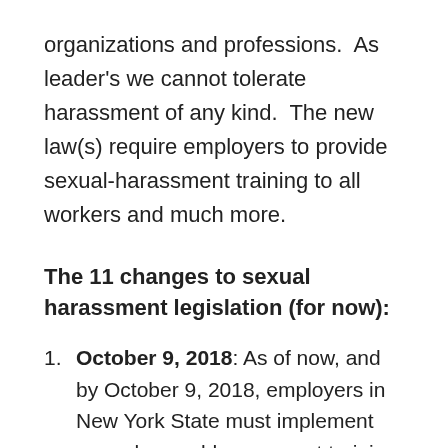organizations and professions.  As leader's we cannot tolerate harassment of any kind.  The new law(s) require employers to provide sexual-harassment training to all workers and much more.
The 11 changes to sexual harassment legislation (for now):
October 9, 2018: As of now, and by October 9, 2018, employers in New York State must implement annual sexual-harassment training. The state is